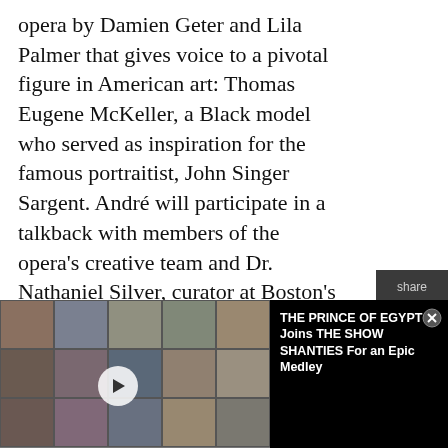opera by Damien Geter and Lila Palmer that gives voice to a pivotal figure in American art: Thomas Eugene McKeller, a Black model who served as inspiration for the famous portraitist, John Singer Sargent. André will participate in a talkback with members of the opera's creative team and Dr. Nathaniel Silver, curator at Boston's Isabella Stewart Gardner Museum in anticipation of the work's 2024 debut as a full-length opera. Tickets for American Apollo are available here.
"Dr. André's research and scholarship places opera squarely at the intersection of today's most challenging ideas and issues, such as racial equity
[Figure (photo): Grid of video thumbnails showing multiple people's faces, with a play button overlay in the center. A dark video advertisement panel on the right shows text: THE PRINCE OF EGYPT Joins THE SHOW SHANTIES For an Epic Medley, with a close button.]